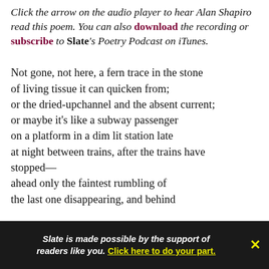Click the arrow on the audio player to hear Alan Shapiro read this poem. You can also download the recording or subscribe to Slate's Poetry Podcast on iTunes.
Not gone, not here, a fern trace in the stone
of living tissue it can quicken from;
or the dried-upchannel and the absent current;
or maybe it's like a subway passenger
on a platform in a dim lit station late
at night between trains, after the trains have stopped—
ahead only the faintest rumbling of
the last one disappearing, and behind
Slate is made possible by the support of readers like you. Click here to do your part.